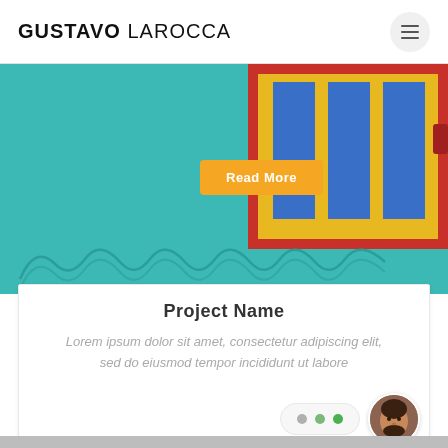GUSTAVO LAROCCA
[Figure (photo): Colorful teal wall with decorative swirls and a red, yellow, and blue framed door/window element in the upper right. An orange 'Read More' button is overlaid in the center of the image.]
Project Name
Lorem ipsum dolor sit amet, consectetur adipiscing elit, sed do eiusmod tempor incididunt ut labore